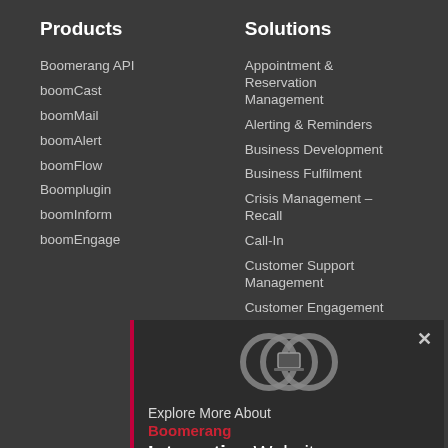Products
Boomerang API
boomCast
boomMail
boomAlert
boomFlow
Boomplugin
boomInform
boomEngage
Solutions
Appointment & Reservation Management
Alerting & Reminders
Business Development
Business Fulfilment
Crisis Management – Recall
Call-In
Customer Support Management
Customer Engagement
[Figure (screenshot): Popup overlay showing Boomerang logo circles, 'Explore More About Boomerang Interactive Website' promotional message with close button]
Shift Planning
Service Outages
Service Disruption
Workforce Recruitment